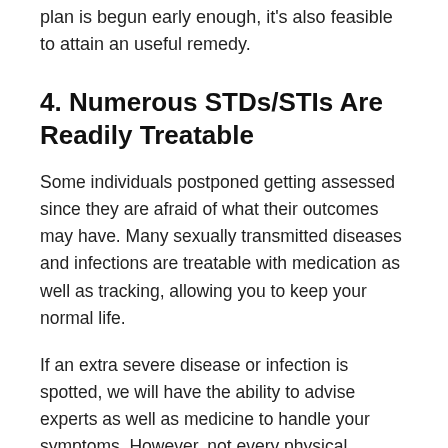plan is begun early enough, it's also feasible to attain an useful remedy.
4. Numerous STDs/STIs Are Readily Treatable
Some individuals postponed getting assessed since they are afraid of what their outcomes may have. Many sexually transmitted diseases and infections are treatable with medication as well as tracking, allowing you to keep your normal life.
If an extra severe disease or infection is spotted, we will have the ability to advise experts as well as medicine to handle your symptoms. However, not every physical includes assessing.